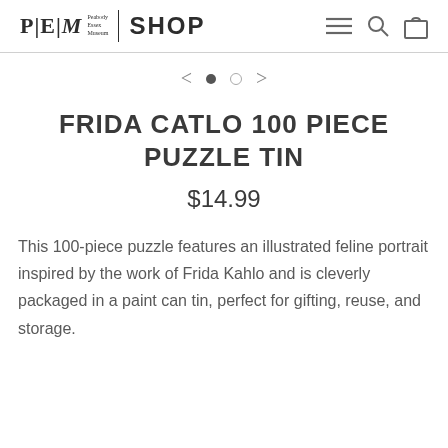P|E|M Peabody Essex Museum | SHOP
[Figure (other): Carousel navigation with left arrow, filled dot, empty dot, right arrow]
FRIDA CATLO 100 PIECE PUZZLE TIN
$14.99
This 100-piece puzzle features an illustrated feline portrait inspired by the work of Frida Kahlo and is cleverly packaged in a paint can tin, perfect for gifting, reuse, and storage.